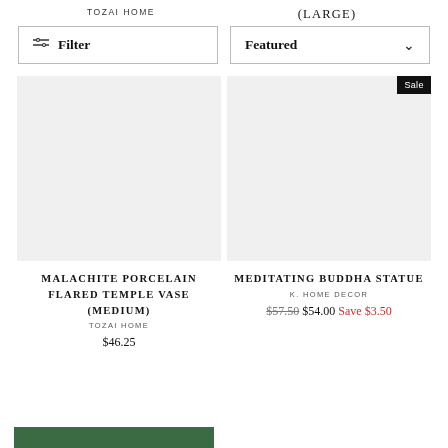TOZAI HOME
(LARGE)
Filter
Featured
Sale
[Figure (photo): Product image area for Malachite Porcelain Flared Temple Vase (Medium) - white/empty placeholder]
[Figure (photo): Product image area for Meditating Buddha Statue - white/empty placeholder with Sale badge]
MALACHITE PORCELAIN FLARED TEMPLE VASE (MEDIUM)
TOZAI HOME
$46.25
MEDITATING BUDDHA STATUE
K. HOME DECOR
$57.50 $54.00 Save $3.50
[Figure (photo): Partial green product image visible at bottom left corner]